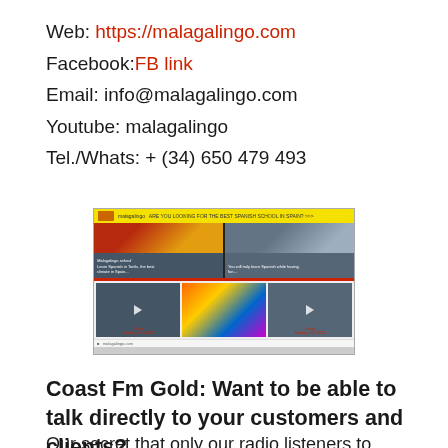Web: https://malagalingo.com
Facebook: FB link
Email: info@malagalingo.com
Youtube: malagalingo
Tel./Whats: + (34) 650 479 493
[Figure (screenshot): Screenshot of the malagalingo.com website showing a yellow top bar with logo, two hero image panels with Spanish language school promotional text, and a row of three video thumbnails below.]
Coast Fm Gold: Want to be able to talk directly to your customers and clients?
Our secret that only our radio listeners to receive will